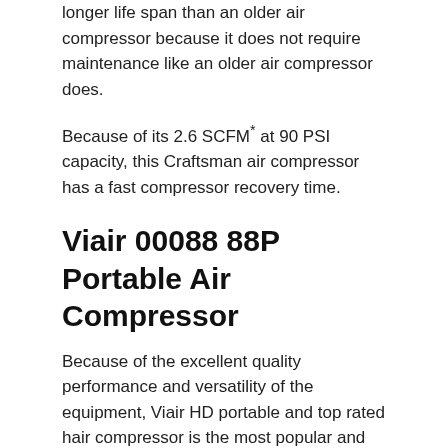longer life span than an older air compressor because it does not require maintenance like an older air compressor does.
Because of its 2.6 SCFM* at 90 PSI capacity, this Craftsman air compressor has a fast compressor recovery time.
Viair 00088 88P Portable Air Compressor
Because of the excellent quality performance and versatility of the equipment, Viair HD portable and top rated hair compressor is the most popular and most sold. It is electric-powered, so you can use it on a car's battery or lighter option, and it can deliver one 20 PSI. It is also a Viair 00088 best quality 12 volt air compressor, which can be used on a heavy-duty